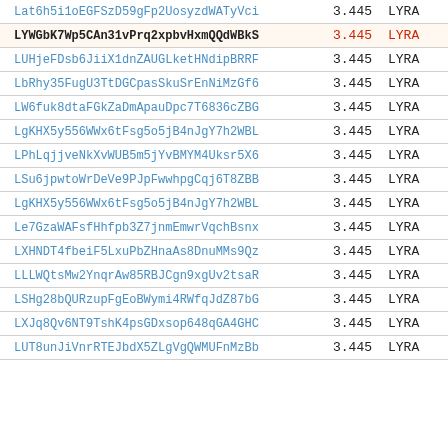| Code | Value | Tag |
| --- | --- | --- |
| Lat6h5i1oEGFSzD59gFp2UosyzdWATyVci | 3.445 | LYRA |
| LYWGbK7Wp5CAn31vPrq2xpbvHxmQQdWBkS | 3.445 | LYRA |
| LUHjeFDsb6JiiX1dnZAUGLketHNdipBRRF | 3.445 | LYRA |
| LbRhy35FugU3TtDGCpasSkuSrEnNiMzGf6 | 3.445 | LYRA |
| LW6fuk8dtaFGkZaDmApauDpc7T6836cZBG | 3.445 | LYRA |
| LgKHX5y556WWx6tFsg5o5jB4nJgY7h2WBL | 3.445 | LYRA |
| LPhLqjjveNkXvWUB5m5jYvBMYM4Uksr5X6 | 3.445 | LYRA |
| LSu6jpwtoWrDeVe9PJpFwwhpgCqj6T8ZBB | 3.445 | LYRA |
| LgKHX5y556WWx6tFsg5o5jB4nJgY7h2WBL | 3.445 | LYRA |
| Le7GzaWAFsfHhfpb3Z7jnmEmwrVqchBsnx | 3.445 | LYRA |
| LXHNDT4fbeiF5LxuPbZHnaAs8DnuMMs9Qz | 3.445 | LYRA |
| LLLWQtsMw2YnqrAw85RBJCgn9xgUv2tsaR | 3.445 | LYRA |
| LSHg28bQURzupFgEoBWymi4RWfqJdZ87bG | 3.445 | LYRA |
| LXJq8Qv6NT9TshK4psGDxsop648qGA4GHC | 3.445 | LYRA |
| LUT8unJiVnrRTEJbdX5ZLgVgQWMUFnMzBb | 3.445 | LYRA |